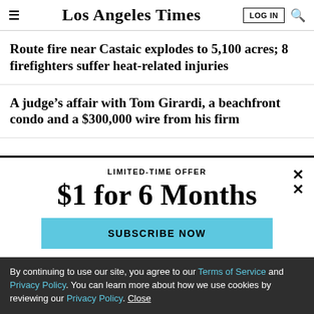Los Angeles Times
Route fire near Castaic explodes to 5,100 acres; 8 firefighters suffer heat-related injuries
A judge's affair with Tom Girardi, a beachfront condo and a $300,000 wire from his firm
LIMITED-TIME OFFER
$1 for 6 Months
SUBSCRIBE NOW
By continuing to use our site, you agree to our Terms of Service and Privacy Policy. You can learn more about how we use cookies by reviewing our Privacy Policy. Close